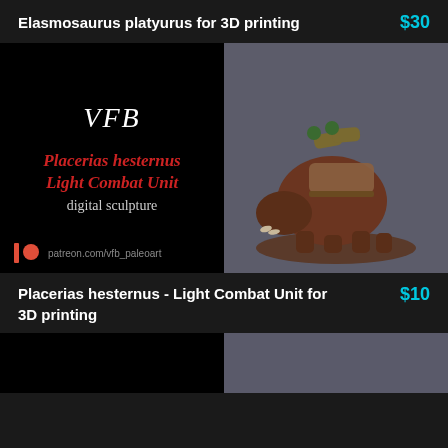Elasmosaurus platyurus for 3D printing   $30
[Figure (illustration): Two-panel product image. Left panel: black background with stylized 'VFB' logo in white script, red italic text 'Placerias hesternus Light Combat Unit' and gray text 'digital sculpture', with Patreon icon and 'patreon.com/vfb_paleoart' at bottom. Right panel: 3D rendered sculpture of a Placerias hesternus (prehistoric animal) with military equipment strapped to its back including cylindrical cannons, displayed on a round base.]
Placerias hesternus - Light Combat Unit for 3D printing   $10
[Figure (photo): Partial view of another product — bottom strip showing two panels, left black and right gray, cropped at bottom of page.]